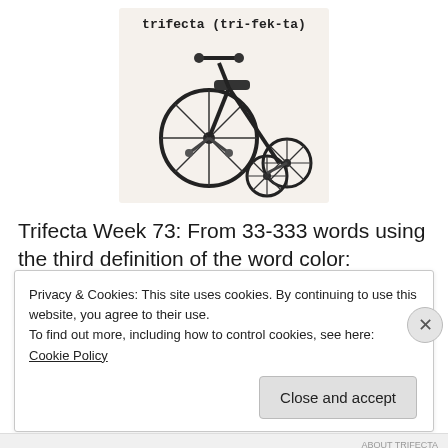[Figure (illustration): A decorative metal tricycle sculpture with one large front wheel and two smaller rear wheels, shown against a light background. Above the image is the text 'trifecta (tri-fek-ta)' in monospace font.]
Trifecta Week 73: From 33-333 words using the third definition of the word color:
3: complexion tint:
[blurred/obscured line of text]
Privacy & Cookies: This site uses cookies. By continuing to use this website, you agree to their use.
To find out more, including how to control cookies, see here: Cookie Policy
Close and accept